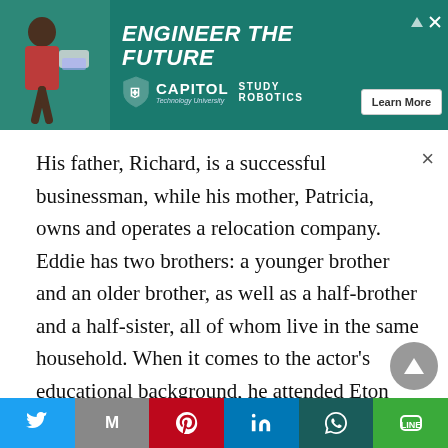[Figure (illustration): Capitol Technology University advertisement banner with green background, a person working on robotics, shield logo, text 'ENGINEER THE FUTURE', 'CAPITOL Technology University', 'STUDY ROBOTICS', and a 'Learn More' button]
His father, Richard, is a successful businessman, while his mother, Patricia, owns and operates a relocation company. Eddie has two brothers: a younger brother and an older brother, as well as a half-brother and a half-sister, all of whom live in the same household. When it comes to the actor's educational background, he attended Eton College before graduating from Trinity College, Cambridge, where he currently resides. He is colorblind due to a genetic condition. However, despite this, he chose to write his dissertation on Yves Klein's
[Figure (other): Social sharing bar with Twitter, Gmail/M, Pinterest, LinkedIn, WhatsApp, and LINE buttons]